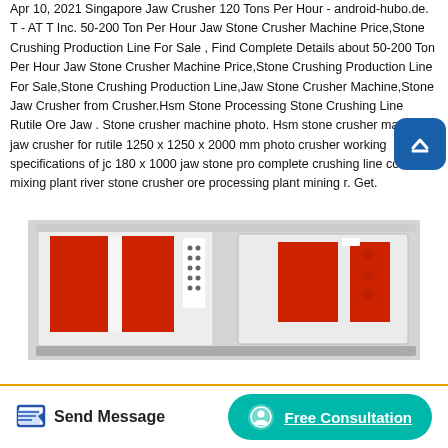Apr 10, 2021 Singapore Jaw Crusher 120 Tons Per Hour - android-hubo.de. T - AT T Inc. 50-200 Ton Per Hour Jaw Stone Crusher Machine Price,Stone Crushing Production Line For Sale , Find Complete Details about 50-200 Ton Per Hour Jaw Stone Crusher Machine Price,Stone Crushing Production Line For Sale,Stone Crushing Production Line,Jaw Stone Crusher Machine,Stone Jaw Crusher from Crusher.Hsm Stone Processing Stone Crushing Line Rutile Ore Jaw . Stone crusher machine photo. Hsm stone crusher machine jaw crusher for rutile 1250 x 1250 x 2000 mm photo crusher working specifications of jc 180 x 1000 jaw stone pro complete crushing line concrete mixing plant river stone crusher ore processing plant mining r. Get.
[Figure (photo): Photo of red and white jaw crusher machinery]
Send Message
Free Consultation